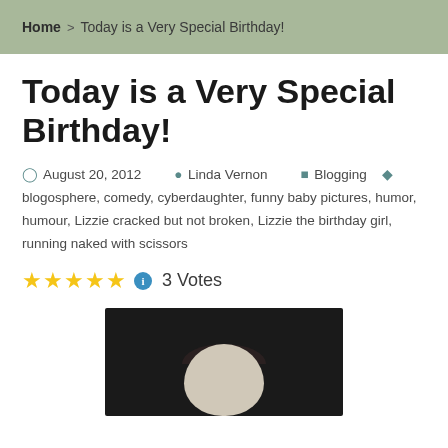Home > Today is a Very Special Birthday!
Today is a Very Special Birthday!
August 20, 2012   Linda Vernon   Blogging   blogosphere, comedy, cyberdaughter, funny baby pictures, humor, humour, Lizzie cracked but not broken, Lizzie the birthday girl, running naked with scissors
3 Votes
[Figure (photo): Black and white photograph of a baby's head viewed from above, showing dark hair on a dark background]